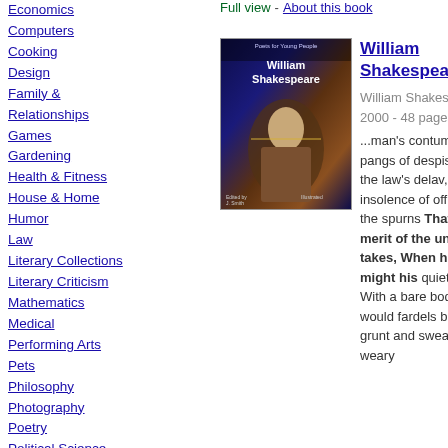Full view - About this book
Economics
Computers
Cooking
Design
Family & Relationships
Games
Gardening
Health & Fitness
House & Home
Humor
Law
Literary Collections
Literary Criticism
Mathematics
Medical
Performing Arts
Pets
Philosophy
Photography
Poetry
Political Science
Psychology
[Figure (photo): Book cover of William Shakespeare]
William Shakespeare
William Shakespeare - 2000 - 48 pages
...man's contumely, The pangs of despised love, the law's delay, The insolence of office, and the spurns That patient merit of the unworthy takes, When he himself might his quietus make With a bare bodkin? Who would fardels bear, To grunt and sweat under a weary